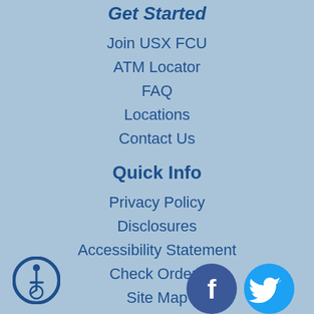Get Started
Join USX FCU
ATM Locator
FAQ
Locations
Contact Us
Quick Info
Privacy Policy
Disclosures
Accessibility Statement
Check Orders
Site Map
[Figure (logo): Accessibility icon (wheelchair symbol in a circle), Facebook logo icon (white F on dark blue circle), Twitter bird logo icon (white bird on light blue circle)]